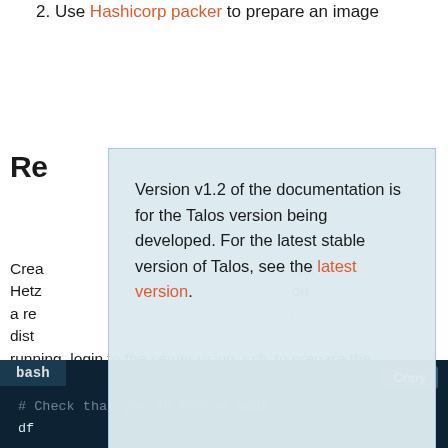2. Use Hashicorp packer to prepare an image
Re…
Version v1.2 of the documentation is for the Talos version being developed. For the latest stable version of Talos, see the latest version.
Create … the Hetz… on a reb… : distr… running, login to the server using `ssh` to prepare the system disk by doing the following:
bash
# Check that you in Rescue mode
df

### Result is like:
# udev                    987432         0  987
# 213.133.99.101:/nfs 308577696 247015616 45817
# overlay                 995672     33240  98